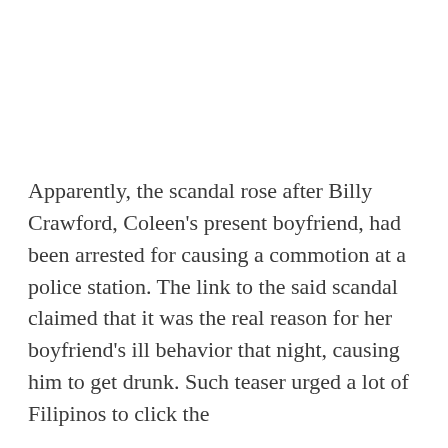Apparently, the scandal rose after Billy Crawford, Coleen's present boyfriend, had been arrested for causing a commotion at a police station. The link to the said scandal claimed that it was the real reason for her boyfriend's ill behavior that night, causing him to get drunk. Such teaser urged a lot of Filipinos to click the